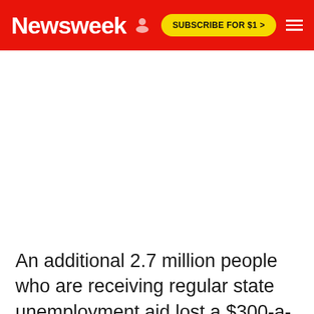Newsweek  SUBSCRIBE FOR $1 >
An additional 2.7 million people who are receiving regular state unemployment aid lost a $300-a-week federal unemployment